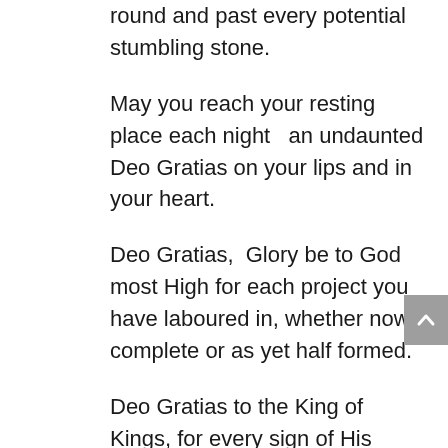round and past every potential stumbling stone.
May you reach your resting place each night   an undaunted Deo Gratias on your lips and in your heart.
Deo Gratias,  Glory be to God most High for each project you have laboured in, whether now complete or as yet half formed.
Deo Gratias to the King of Kings, for every sign of His Kingdom that He has sent and that you have followed.